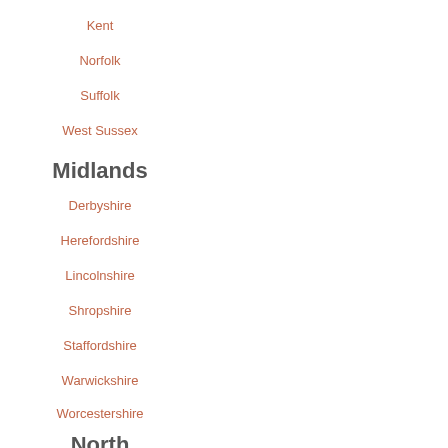Kent
Norfolk
Suffolk
West Sussex
Midlands
Derbyshire
Herefordshire
Lincolnshire
Shropshire
Staffordshire
Warwickshire
Worcestershire
North
Scotland
Argyll and Bute
Dumfries And Galloway
Fife
Highlands
Moray
Perth And Kinross
Ireland
Clare
Cork
Donegal